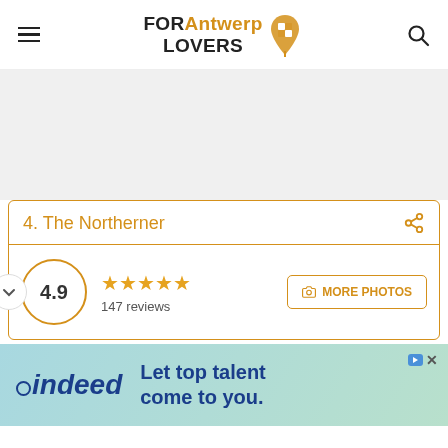FOR Antwerp LOVERS
[Figure (screenshot): Gray advertisement placeholder area]
4. The Northerner
4.9 ★★★★★ 147 reviews
[Figure (screenshot): Indeed advertisement: Let top talent come to you.]